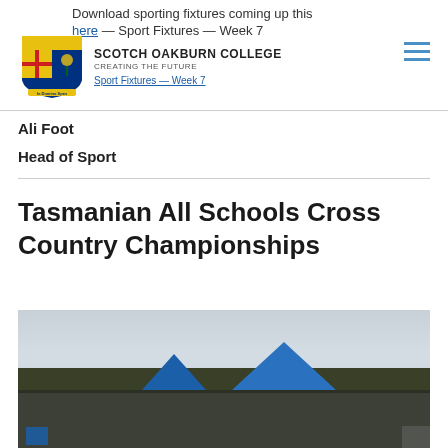Download sporting fixtures coming up this week — here — Sport Fixtures — Week 7
[Figure (logo): Scotch Oakburn College crest logo with shield design in blue, red, yellow and green]
SCOTCH OAKBURN COLLEGE — CREATING THE FUTURE
Ali Foot
Head of Sport
Tasmanian All Schools Cross Country Championships
[Figure (photo): Outdoor cross country championship event with large crowd of students and spectators, blue marquee tents in background, overcast sky, bare trees on horizon]